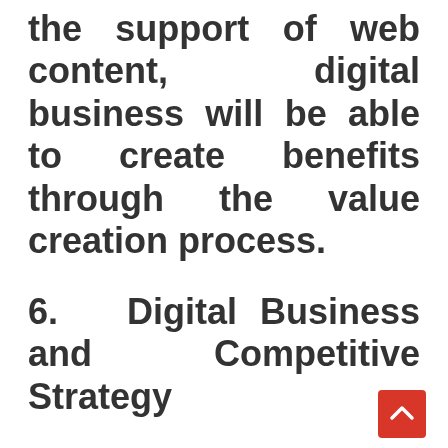the support of web content, digital business will be able to create benefits through the value creation process.
6. Digital Business and Competitive Strategy
As we already know, digital business has influenced the